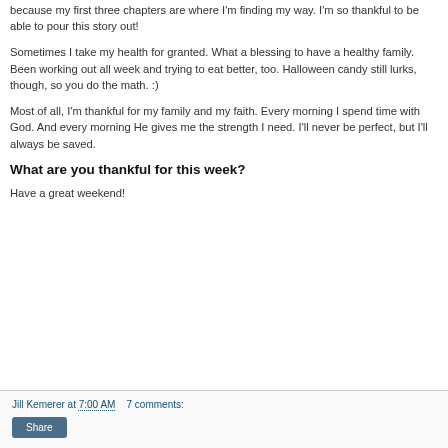because my first three chapters are where I'm finding my way. I'm so thankful to be able to pour this story out!
Sometimes I take my health for granted. What a blessing to have a healthy family. Been working out all week and trying to eat better, too. Halloween candy still lurks, though, so you do the math. :)
Most of all, I'm thankful for my family and my faith. Every morning I spend time with God. And every morning He gives me the strength I need. I'll never be perfect, but I'll always be saved.
What are you thankful for this week?
Have a great weekend!
Jill Kemerer at 7:00 AM   7 comments:   Share